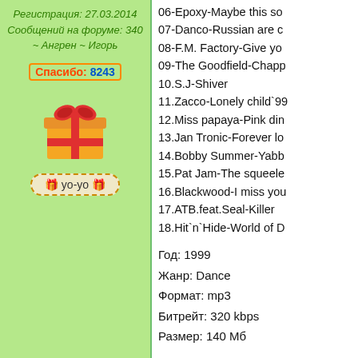Регистрация: 27.03.2014
Сообщений на форуме: 340
~ Ангрен ~ Игорь
Спасибо: 8243
[Figure (illustration): Gift box emoji icon in orange/red with red bow ribbon]
🎁 yo-yo 🎁
06-Epoxy-Maybe this so
07-Danco-Russian are c
08-F.M. Factory-Give yo
09-The Goodfield-Chapp
10.S.J-Shiver
11.Zacco-Lonely child`99
12.Miss papaya-Pink din
13.Jan Tronic-Forever lo
14.Bobby Summer-Yabb
15.Pat Jam-The squeele
16.Blackwood-I miss you
17.ATB.feat.Seal-Killer
18.Hit`n`Hide-World of D
Год: 1999
Жанр: Dance
Формат: mp3
Битрейт: 320 kbps
Размер: 140 Мб